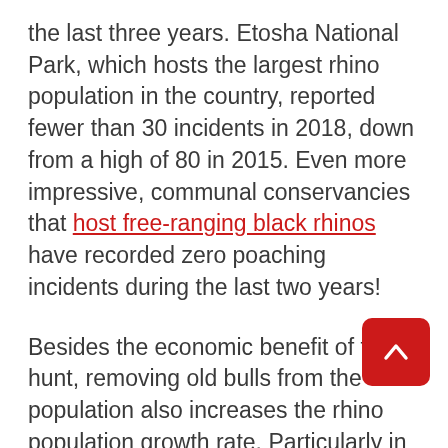the last three years. Etosha National Park, which hosts the largest rhino population in the country, reported fewer than 30 incidents in 2018, down from a high of 80 in 2015. Even more impressive, communal conservancies that host free-ranging black rhinos have recorded zero poaching incidents during the last two years!
Besides the economic benefit of this hunt, removing old bulls from the population also increases the rhino population growth rate. Particularly in small black rhino populations, older bulls can become a problem. They prevent young bulls from breeding and may even kill them in territorial fights. The